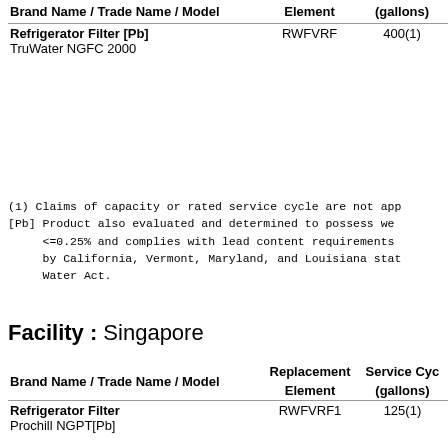| Brand Name / Trade Name / Model | Element | (gallons) |
| --- | --- | --- |
| Refrigerator Filter [Pb]
TruWater NGFC 2000 | RWFVRF | 400(1) |
(1) Claims of capacity or rated service cycle are not app
[Pb] Product also evaluated and determined to possess we
     <=0.25% and complies with lead content requirements
     by California, Vermont, Maryland, and Louisiana stat
     Water Act.
Facility : Singapore
| Brand Name / Trade Name / Model | Replacement Element | Service Cycle (gallons) |
| --- | --- | --- |
| Refrigerator Filter
Prochill NGPT[Pb] | RWFVRF1 | 125(1) |